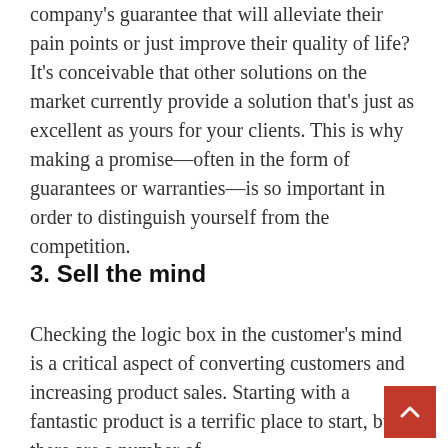company's guarantee that will alleviate their pain points or just improve their quality of life? It's conceivable that other solutions on the market currently provide a solution that's just as excellent as yours for your clients. This is why making a promise—often in the form of guarantees or warranties—is so important in order to distinguish yourself from the competition.
3. Sell the mind
Checking the logic box in the customer's mind is a critical aspect of converting customers and increasing product sales. Starting with a fantastic product is a terrific place to start, but there are a number of